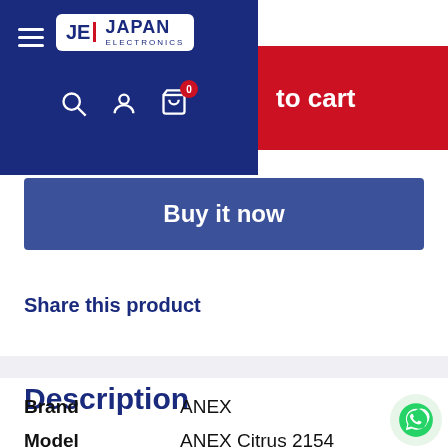[Figure (screenshot): Japan Electronics website navigation header with logo, hamburger menu, search/account/cart icons on dark blue background]
to cart
Buy it now
Share this product
Description
Brand   ANEX
Model   ANEX Citrus 2154